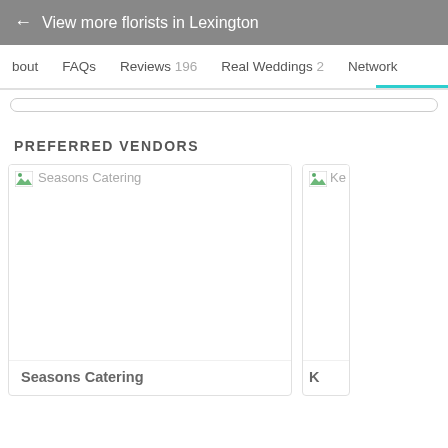← View more florists in Lexington
bout   FAQs   Reviews 196   Real Weddings 2   Network
PREFERRED VENDORS
[Figure (screenshot): Vendor card for Seasons Catering with broken image placeholder]
Seasons Catering
[Figure (screenshot): Partial vendor card (truncated, showing 'Ke' text)]